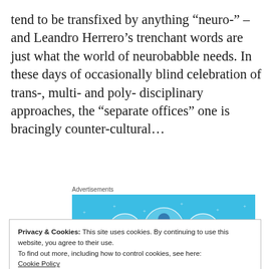tend to be transfixed by anything “neuro-” – and Leandro Herrero’s trenchant words are just what the world of neurobabble needs. In these days of occasionally blind celebration of trans-, multi- and poly- disciplinary approaches, the “separate offices” one is bracingly counter-cultural…
[Figure (other): Advertisement banner with blue background showing three circular icons with document/person graphics and small star decorations. Label reads Advertisements.]
Privacy & Cookies: This site uses cookies. By continuing to use this website, you agree to their use.
To find out more, including how to control cookies, see here:
Cookie Policy
Close and accept